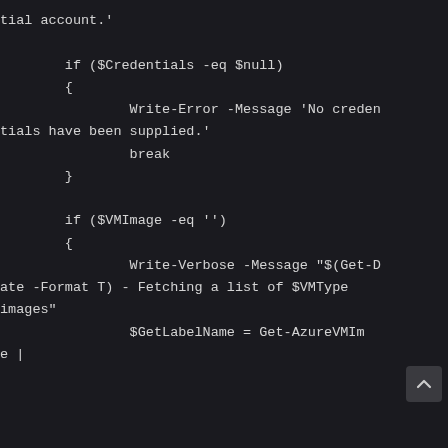tial account.'

        if ($Credentials -eq $null)
        {
                Write-Error -Message 'No credentials have been supplied.'
                break
        }

        if ($VMImage -eq '')
        {
                Write-Verbose -Message "$(Get-Date -Format T) - Fetching a list of $VMType images"
                $GetLabelName = Get-AzureVMIm
e |